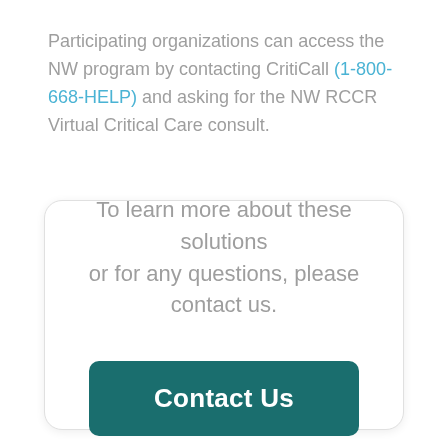Participating organizations can access the NW program by contacting CritiCall (1-800-668-HELP) and asking for the NW RCCR Virtual Critical Care consult.
To learn more about these solutions or for any questions, please contact us.
Contact Us